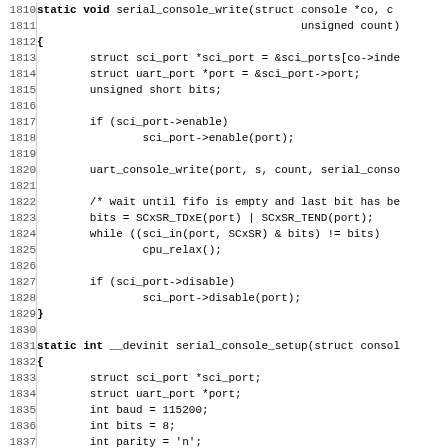Source code listing lines 1810-1842, C code for serial console functions